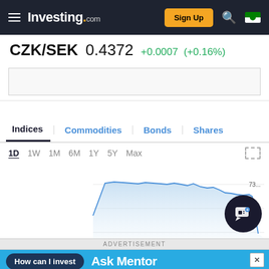Investing.com — Sign Up
CZK/SEK 0.4372 +0.0007 (+0.16%)
[Figure (line-chart): Intraday line chart for CZK/SEK showing price movement over 1 day. The line starts low, rises sharply to a plateau around 0.4373, stays relatively flat with minor fluctuations, then drops steeply near the end of the trading session. Y-axis shows values around 0.4372-0.4373.]
ADVERTISEMENT
How can I invest   Ask Mentor
CZK/SEK Discussions